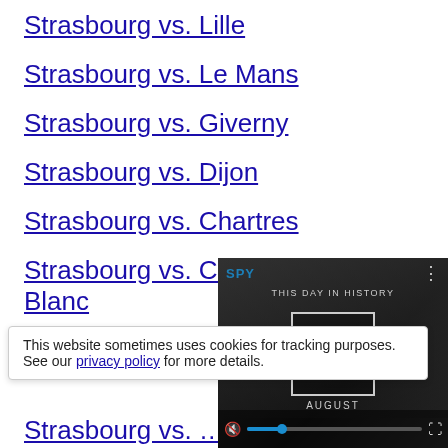Strasbourg vs. Lille
Strasbourg vs. Le Mans
Strasbourg vs. Giverny
Strasbourg vs. Dijon
Strasbourg vs. Chartres
Strasbourg vs. Chamonix-Mont-Blanc
Strasbourg vs. Ca…
This website sometimes uses cookies for tracking purposes. See our privacy policy for more details.
[Figure (screenshot): Video overlay showing 'This Day in History' with the number 6 and AUGUST label, play button, and video controls including mute and progress bar.]
Strasbourg vs. …